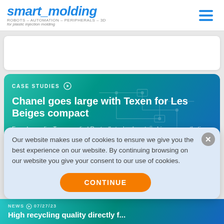smart_molding — ROBOTS – AUTOMATION – PERIPHERALS – 3D for plastic injection molding
[Figure (screenshot): White card placeholder area]
CASE STUDIES
Chanel goes large with Texen for Les Beiges compact
French supplier Texen applied Roctool's technology to achieve an aesthetic faithful to the luxury brand's
Our website makes use of cookies to ensure we give you the best experience on our website. By continuing browsing on our website you give your consent to our use of cookies.
CONTINUE
High recycling quality directly f...